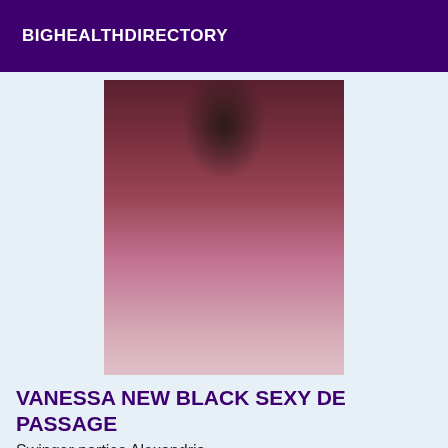BIGHEALTHDIRECTORY
[Figure (photo): Person posing in a dark magenta/burgundy crop top and matching shorts against a pink background.]
VANESSA NEW BLACK SEXY DE PASSAGE
Swinger parties Alexandria